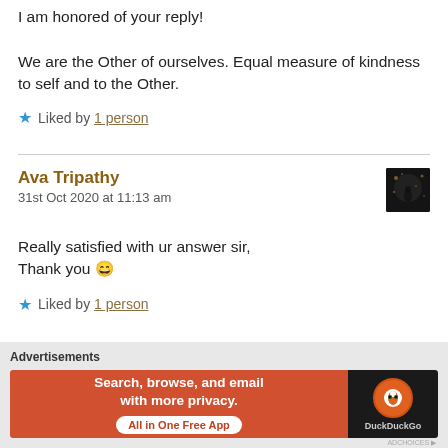I am honored of your reply!

We are the Other of ourselves. Equal measure of kindness to self and to the Other.
Liked by 1 person
Ava Tripathy
31st Oct 2020 at 11:13 am
[Figure (photo): Small avatar thumbnail showing a silhouetted figure against a dark background with light bokeh effects]
Really satisfied with ur answer sir,
Thank you 😄
Liked by 1 person
[Figure (infographic): DuckDuckGo advertisement banner: 'Search, browse, and email with more privacy. All in One Free App' with DuckDuckGo logo on dark right panel]